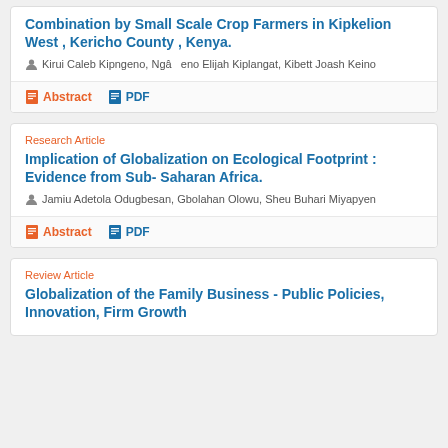Combination by Small Scale Crop Farmers in Kipkelion West , Kericho County , Kenya.
Kirui Caleb Kipngeno, Ngâ eno Elijah Kiplangat, Kibett Joash Keino
Abstract  PDF
Research Article
Implication of Globalization on Ecological Footprint : Evidence from Sub- Saharan Africa.
Jamiu Adetola Odugbesan, Gbolahan Olowu, Sheu Buhari Miyapyen
Abstract  PDF
Review Article
Globalization of the Family Business - Public Policies, Innovation, Firm Growth